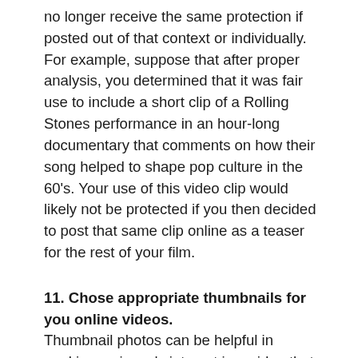no longer receive the same protection if posted out of that context or individually. For example, suppose that after proper analysis, you determined that it was fair use to include a short clip of a Rolling Stones performance in an hour-long documentary that comments on how their song helped to shape pop culture in the 60’s. Your use of this video clip would likely not be protected if you then decided to post that same clip online as a teaser for the rest of your film.
11. Chose appropriate thumbnails for you online videos.
Thumbnail photos can be helpful in peaking a viewer’s interest in a video that you have created. Because they are the first images people see before clicking “play,” thumbnail photos should not only be relevant to video content, but should also reflect their messages. For example, a photo of a celebrity who has admittedly